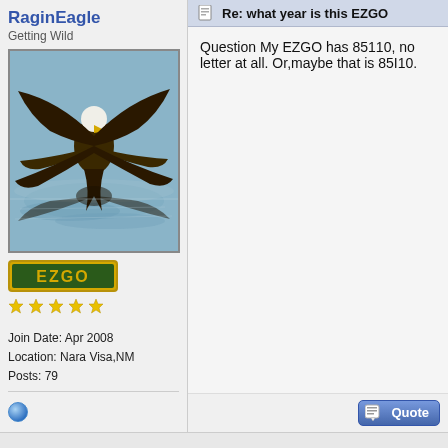RaginEagle
Getting Wild
[Figure (photo): Bald eagle diving toward water with wings spread, reflected in water below]
[Figure (logo): EZGO badge/logo in gold and green]
★★★★★
Join Date: Apr 2008
Location: Nara Visa,NM
Posts: 79
Re: what year is this EZGO
Question My EZGO has 85110, no letter at all. Or,maybe that is 85I10.